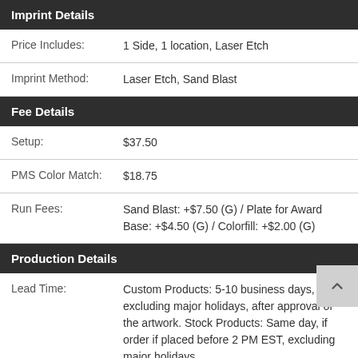Imprint Details
| Price Includes: | 1 Side, 1 location, Laser Etch |
| Imprint Method: | Laser Etch, Sand Blast |
Fee Details
| Setup: | $37.50 |
| PMS Color Match: | $18.75 |
| Run Fees: | Sand Blast: +$7.50 (G) / Plate for Award Base: +$4.50 (G) / Colorfill: +$2.00 (G) |
Production Details
| Lead Time: | Custom Products: 5-10 business days, excluding major holidays, after approval of the artwork. Stock Products: Same day, if order if placed before 2 PM EST, excluding major holidays. |
| Rush: | No standard rush timeline. Contact Ryder Engraving beforehand to determine if rush is |